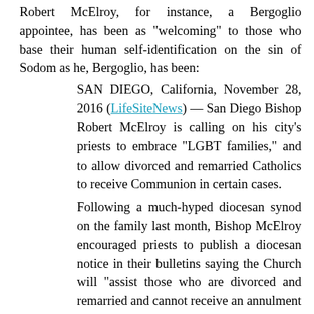Robert McElroy, for instance, a Bergoglio appointee, has been as "welcoming" to those who base their human self-identification on the sin of Sodom as he, Bergoglio, has been:
SAN DIEGO, California, November 28, 2016 (LifeSiteNews) — San Diego Bishop Robert McElroy is calling on his city's priests to embrace "LGBT families," and to allow divorced and remarried Catholics to receive Communion in certain cases.
Following a much-hyped diocesan synod on the family last month, Bishop McElroy encouraged priests to publish a diocesan notice in their bulletins saying the Church will "assist those who are divorced and remarried and cannot receive an annulment to utilize the internal forum of conscience in order to